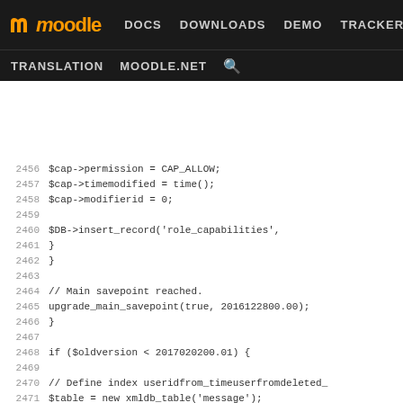moodle DOCS DOWNLOADS DEMO TRACKER DEV | TRANSLATION MOODLE.NET [search]
[Figure (screenshot): Moodle developer documentation website header with navigation links: DOCS, DOWNLOADS, DEMO, TRACKER, DEV (highlighted in purple), TRANSLATION, MOODLE.NET, and a search icon.]
Code listing lines 2456-2482 showing PHP upgrade script code for Moodle, including capability permission settings, savepoint, and index definitions for message table.